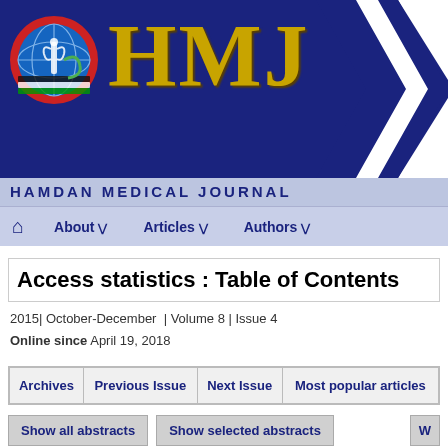[Figure (logo): Hamdan Medical Journal header banner with HMJ logo, globe/medical icon, gold HMJ letters on dark navy background with white chevron shapes]
HAMDAN MEDICAL JOURNAL
About  Articles  Authors
Access statistics : Table of Contents
2015| October-December  | Volume 8 | Issue 4
Online since April 19, 2018
| Archives | Previous Issue | Next Issue | Most popular articles |
| --- | --- | --- | --- |
Show all abstracts   Show selected abstracts
STATE-OF-THE-ART REVIEW